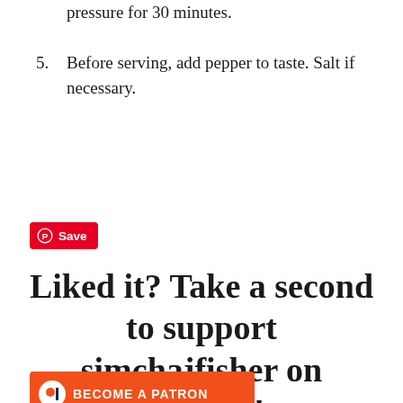pressure for 30 minutes.
5. Before serving, add pepper to taste. Salt if necessary.
[Figure (other): Pinterest Save button with red background and Pinterest logo]
Liked it? Take a second to support simchajfisher on Patreon!
[Figure (other): Become a Patron button with orange-red background and patron icon]